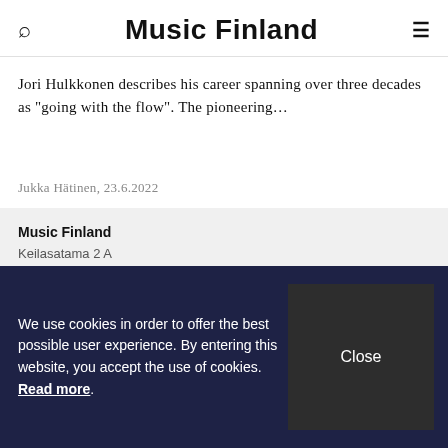Music Finland
Jori Hulkkonen describes his career spanning over three decades as "going with the flow". The pioneering…
Jukka Hätinen, 23.6.2022
Music Finland
Keilasatama 2 A
02150 Espoo, Finland
+358 (0)20 730 2230
We use cookies in order to offer the best possible user experience. By entering this website, you accept the use of cookies. Read more.